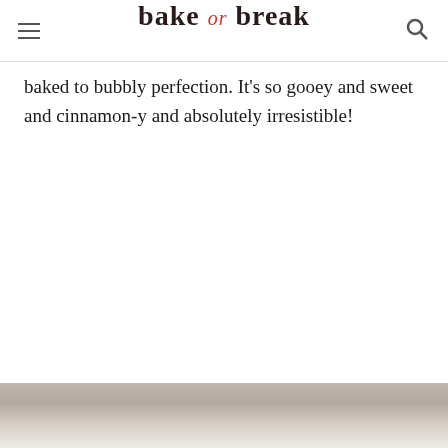bake or break
baked to bubbly perfection. It's so gooey and sweet and cinnamon-y and absolutely irresistible!
[Figure (photo): Bottom portion of a food photo showing a baked dish, partially visible at the bottom of the page]